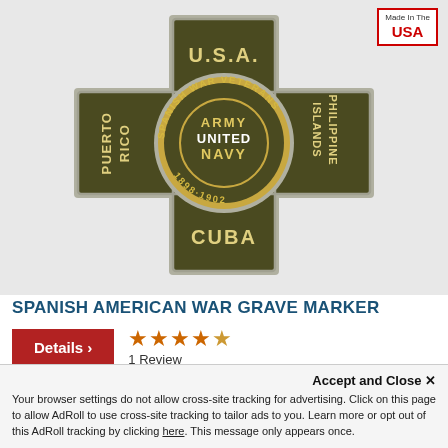[Figure (photo): Spanish American War Grave Marker — a cross-shaped metallic marker in olive/gold tones. The center circle reads 'ARMY UNITED NAVY' with 'SPANISH WAR VETERANS 1898·1902' around the ring. The four arms of the cross read 'PUERTO RICO', 'U.S.A.', 'CUBA', and 'PHILIPPINE ISLANDS'. A 'Made In The USA' badge is in the top right corner.]
SPANISH AMERICAN WAR GRAVE MARKER
Details »
★★★★★ 1 Review
Accept and Close ✕
Your browser settings do not allow cross-site tracking for advertising. Click on this page to allow AdRoll to use cross-site tracking to tailor ads to you. Learn more or opt out of this AdRoll tracking by clicking here. This message only appears once.